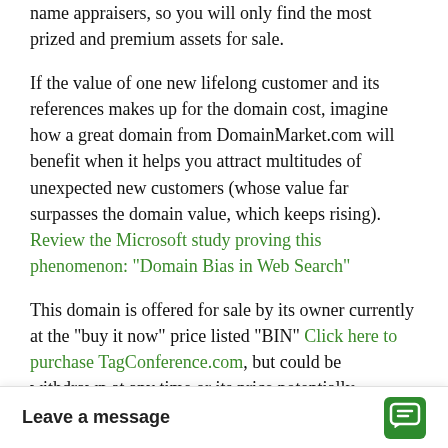name appraisers, so you will only find the most prized and premium assets for sale.
If the value of one new lifelong customer and its references makes up for the domain cost, imagine how a great domain from DomainMarket.com will benefit when it helps you attract multitudes of unexpected new customers (whose value far surpasses the domain value, which keeps rising). Review the Microsoft study proving this phenomenon: "Domain Bias in Web Search"
This domain is offered for sale by its owner currently at the "buy it now" price listed "BIN" Click here to purchase TagConference.com, but could be withdrawn at any time or its price potentially substantially raised. Also, once sold, the next owner, your domain competi... again, especially to hi...